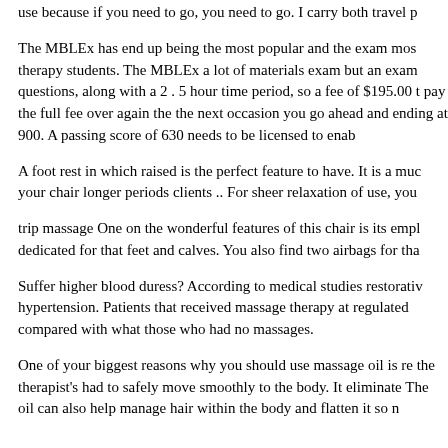use because if you need to go, you need to go. I carry both travel p
The MBLEx has end up being the most popular and the exam most therapy students. The MBLEx a lot of materials exam but an exam questions, along with a 2 . 5 hour time period, so a fee of $195.00 t pay the full fee over again the the next occasion you go ahead and ending at 900. A passing score of 630 needs to be licensed to enab
A foot rest in which raised is the perfect feature to have. It is a muc your chair longer periods clients .. For sheer relaxation of use, you
trip massage One on the wonderful features of this chair is its empl dedicated for that feet and calves. You also find two airbags for tha
Suffer higher blood duress? According to medical studies restorativ hypertension. Patients that received massage therapy at regulated compared with what those who had no massages.
One of your biggest reasons why you should use massage oil is re the therapist's had to safely move smoothly to the body. It eliminate The oil can also help manage hair within the body and flatten it so n